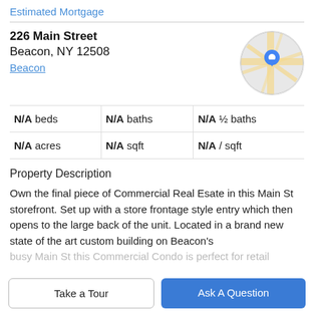Estimated Mortgage
226 Main Street
Beacon, NY 12508
Beacon
[Figure (map): Circular map thumbnail showing a Google Maps view with a blue location pin marker at the center, street map background with tan road lines on light gray.]
| N/A beds | N/A baths | N/A ½ baths |
| N/A acres | N/A sqft | N/A / sqft |
Property Description
Own the final piece of Commercial Real Esate in this Main St storefront. Set up with a store frontage style entry which then opens to the large back of the unit. Located in a brand new state of the art custom building on Beacon's
busy Main St this Commercial Condo is perfect for retail
Take a Tour
Ask A Question